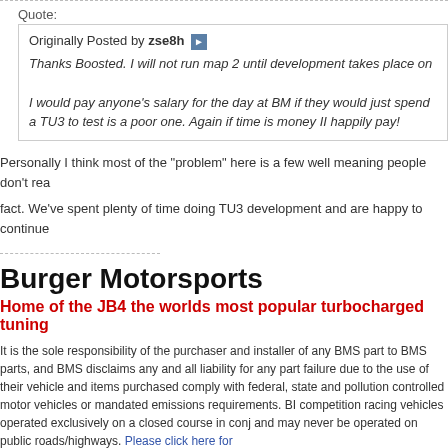Quote:
Originally Posted by zse8h
Thanks Boosted. I will not run map 2 until development takes place on

I would pay anyone's salary for the day at BM if they would just spend a TU3 to test is a poor one. Again if time is money II happily pay!
Personally I think most of the "problem" here is a few well meaning people don't rea
fact. We've spent plenty of time doing TU3 development and are happy to continue
Burger Motorsports
Home of the JB4 the worlds most popular turbocharged tuning
It is the sole responsibility of the purchaser and installer of any BMS part to BMS parts, and BMS disclaims any and all liability for any part failure due to the use of their vehicle and items purchased comply with federal, state and pollution controlled motor vehicles or mandated emissions requirements. BM competition racing vehicles operated exclusively on a closed course in conj and may never be operated on public roads/highways. Please click here for